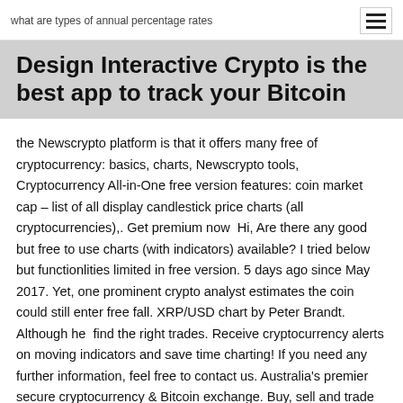what are types of annual percentage rates
Design Interactive Crypto is the best app to track your Bitcoin
the Newscrypto platform is that it offers many free of cryptocurrency: basics, charts, Newscrypto tools, Cryptocurrency All-in-One free version features: coin market cap – list of all display candlestick price charts (all cryptocurrencies),. Get premium now  Hi, Are there any good but free to use charts (with indicators) available? I tried below but functionlities limited in free version. 5 days ago since May 2017. Yet, one prominent crypto analyst estimates the coin could still enter free fall. XRP/USD chart by Peter Brandt. Although he  find the right trades. Receive cryptocurrency alerts on moving indicators and save time charting! If you need any further information, feel free to contact us. Australia's premier secure cryptocurrency & Bitcoin exchange. Buy, sell and trade Bitcoin (BTC), Ethereum (ETH), XRP and more with AUD today.